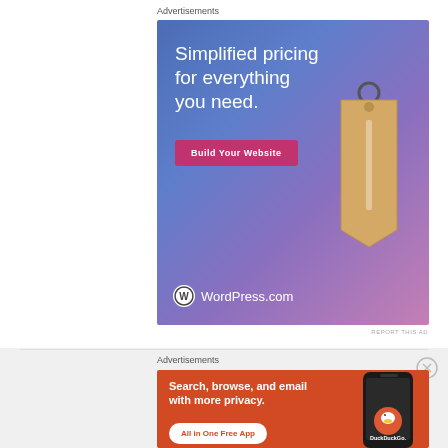Advertisements
[Figure (illustration): WordPress.com advertisement with gradient blue-purple background showing a price tag, text 'Simplified pricing for everything you need.', a pink 'Build Your Website' button, and WordPress.com logo at bottom left.]
REPORT THIS AD
[Figure (illustration): DuckDuckGo advertisement with orange background showing 'Search, browse, and email with more privacy. All in One Free App' text with a phone mockup and DuckDuckGo logo on the right.]
REPORT THIS AD